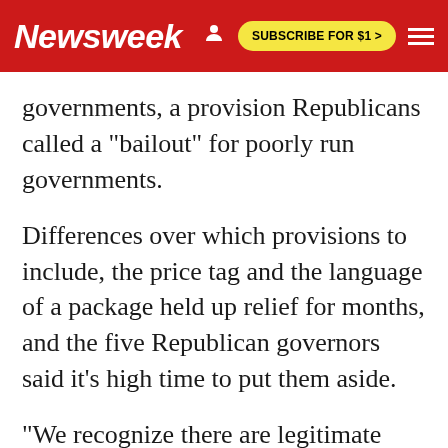Newsweek  SUBSCRIBE FOR $1 >
governments, a provision Republicans called a "bailout" for poorly run governments.
Differences over which provisions to include, the price tag and the language of a package held up relief for months, and the five Republican governors said it's high time to put them aside.
"We recognize there are legitimate differences of opinion on what an ideal package should contain, but these differences pale in